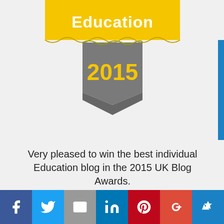[Figure (illustration): UK Blog Awards 2015 Education badge - yellow ribbon banner with 'Education' text and grey pennant showing '2015']
Very pleased to win the best individual Education blog in the 2015 UK Blog Awards.
[Figure (illustration): Top 10 blog badge - circular dark badge with blue border and 'Top 10' text with stars]
Privacy & Cookies: This site uses cookies. By continuing to use this website, you agree to their use.
To find out more, including how to control cookies, see here: Cookie Policy